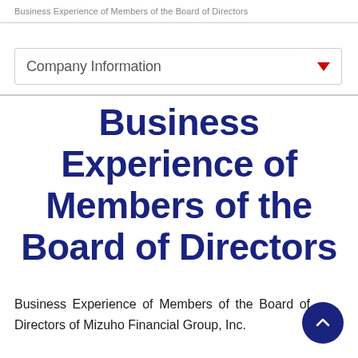Business Experience of Members of the Board of Directors
Company Information
Business Experience of Members of the Board of Directors
Business Experience of Members of the Board of Directors of Mizuho Financial Group, Inc.